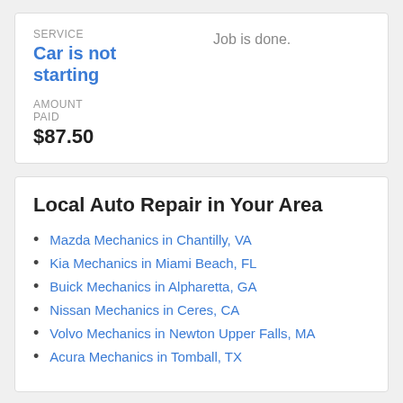SERVICE
Car is not starting
Job is done.
AMOUNT PAID
$87.50
Local Auto Repair in Your Area
Mazda Mechanics in Chantilly, VA
Kia Mechanics in Miami Beach, FL
Buick Mechanics in Alpharetta, GA
Nissan Mechanics in Ceres, CA
Volvo Mechanics in Newton Upper Falls, MA
Acura Mechanics in Tomball, TX